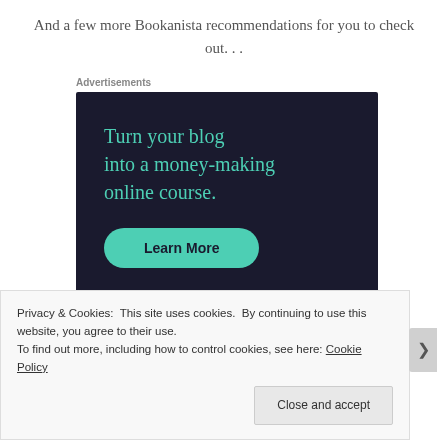And a few more Bookanista recommendations for you to check out. . .
Advertisements
[Figure (other): Advertisement for Sensei platform: dark navy background with teal text reading 'Turn your blog into a money-making online course.' with a teal 'Learn More' button and Sensei logo at bottom right.]
Privacy & Cookies: This site uses cookies. By continuing to use this website, you agree to their use.
To find out more, including how to control cookies, see here: Cookie Policy
Close and accept